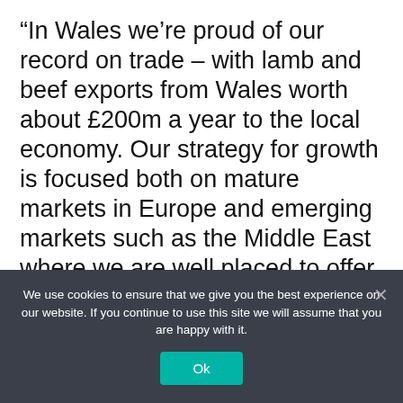“In Wales we’re proud of our record on trade – with lamb and beef exports from Wales worth about £200m a year to the local economy. Our strategy for growth is focused both on mature markets in Europe and emerging markets such as the Middle East where we are well placed to offer a high-quality and environmentally-sustainable product.
“Trade policy as a whole needs to take full account of sustainability and food security. We produce red meat to world-leading
We use cookies to ensure that we give you the best experience on our website. If you continue to use this site we will assume that you are happy with it.